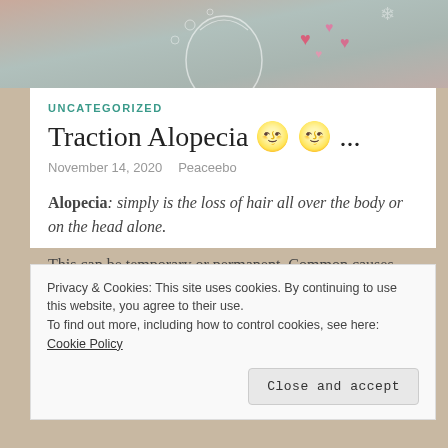[Figure (photo): Top decorative image showing an illustrated head/face outline with hearts and floral patterns on a warm muted background]
UNCATEGORIZED
Traction Alopecia 🌝 🌝 ...
November 14, 2020   Peaceebo
Alopecia: simply is the loss of hair all over the body or on the head alone.
This can be temporary or permanent. Common causes include
Privacy & Cookies: This site uses cookies. By continuing to use this website, you agree to their use. To find out more, including how to control cookies, see here: Cookie Policy
Close and accept